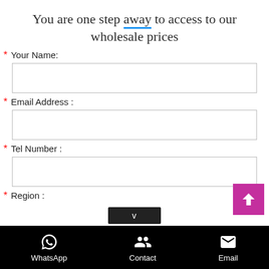You are one step away to access to our wholesale prices
* Your Name:
* Email Address :
* Tel Number :
* Region :
WhatsApp   Contact   Email